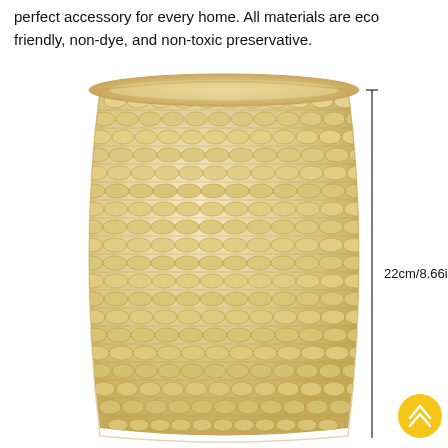perfect accessory for every home. All materials are eco friendly, non-dye, and non-toxic preservative.
[Figure (photo): A woven straw/rattan barrel-shaped stool or vase with natural beige braided texture. A vertical dimension line on the right side indicates the height measurement of 22cm/8.66in. A yellow circular up-arrow button is visible at the bottom right.]